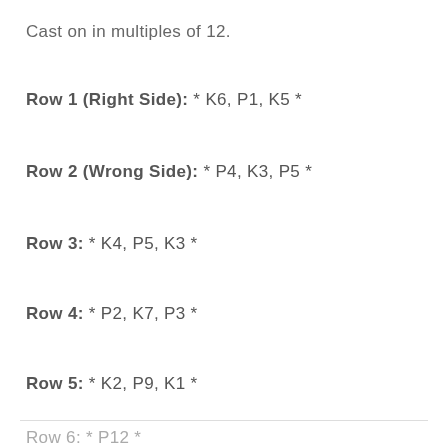Cast on in multiples of 12.
Row 1 (Right Side): * K6, P1, K5 *
Row 2 (Wrong Side): * P4, K3, P5 *
Row 3: * K4, P5, K3 *
Row 4: * P2, K7, P3 *
Row 5: * K2, P9, K1 *
Row 6: * P12 *